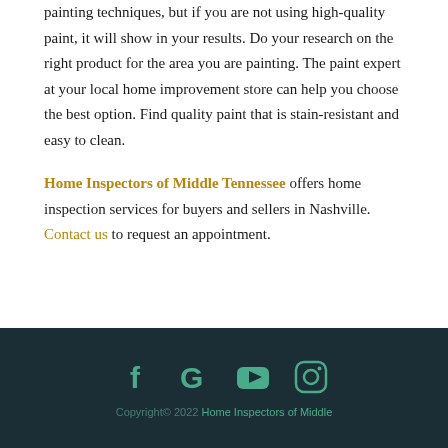painting techniques, but if you are not using high-quality paint, it will show in your results. Do your research on the right product for the area you are painting. The paint expert at your local home improvement store can help you choose the best option. Find quality paint that is stain-resistant and easy to clean.
Home Inspectors of Middle Tennessee offers home inspection services for buyers and sellers in Nashville. Contact us to request an appointment.
Copyright© 2022 Home Inspectors of Middle